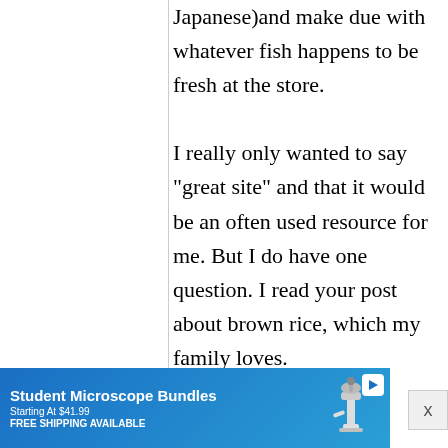Japanese)and make due with whatever fish happens to be fresh at the store.

I really only wanted to say "great site" and that it would be an often used resource for me. But I do have one question. I read your post about brown rice, which my family loves.
[Figure (other): Advertisement banner for Student Microscope Bundles, Starting At $41.99, FREE SHIPPING AVAILABLE, with a microscope image on a blue gradient background]